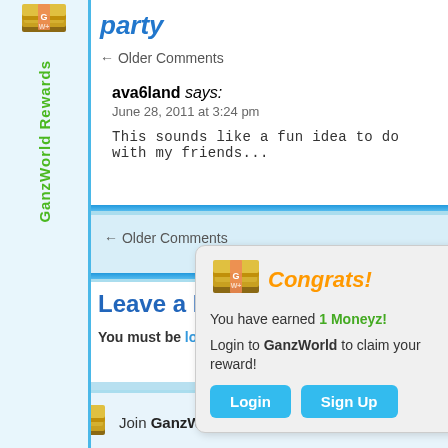party
← Older Comments
ava6land says:
June 28, 2011 at 3:24 pm
This sounds like a fun idea to do with my friends...
← Older Comments
Leave a Reply
You must be logged in to post a comment.
[Figure (screenshot): Congrats popup: You have earned 1 Moneyz! Login to GanzWorld to claim your reward! with Login and Sign Up buttons]
Join GanzWorld You'll get 1500 Moneyz!